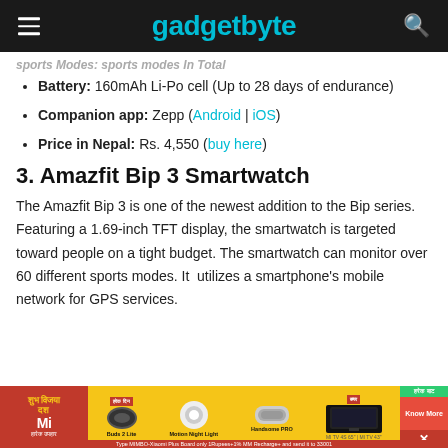gadgetbyte
Sports Modes: Sports Modes In Total
Battery: 160mAh Li-Po cell (Up to 28 days of endurance)
Companion app: Zepp (Android | iOS)
Price in Nepal: Rs. 4,550 (buy here)
3. Amazfit Bip 3 Smartwatch
The Amazfit Bip 3 is one of the newest addition to the Bip series. Featuring a 1.69-inch TFT display, the smartwatch is targeted toward people on a tight budget. The smartwatch can monitor over 60 different sports modes. It  utilizes a smartphone's mobile network for GPS services.
[Figure (photo): Xiaomi advertisement banner showing Mi products including Buds 2 Lite, Motion Night Light, Handsome PRO, and MI TV with Know More button]